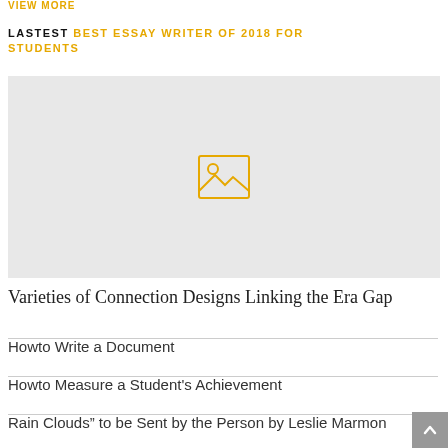VIEW MORE
LASTEST BEST ESSAY WRITER OF 2018 FOR STUDENTS
[Figure (photo): Image placeholder with a golden landscape/mountain icon on grey background]
Varieties of Connection Designs Linking the Era Gap
Howto Write a Document
Howto Measure a Student's Achievement
Rain Clouds" to be Sent by the Person by Leslie Marmon